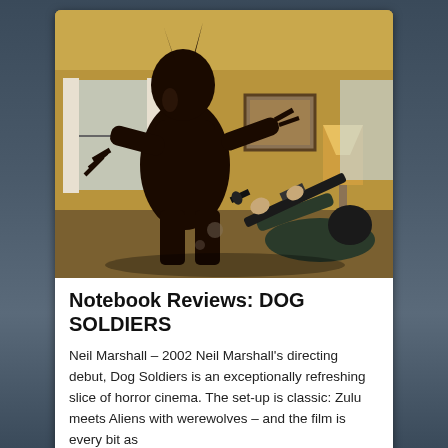[Figure (photo): Scene from Dog Soldiers (2002) showing a large werewolf creature standing in a room while a soldier on the ground aims a rifle at it. Indoor setting with warm lighting, lamp visible in background.]
Notebook Reviews: DOG SOLDIERS
Neil Marshall – 2002 Neil Marshall's directing debut, Dog Soldiers is an exceptionally refreshing slice of horror cinema. The set-up is classic: Zulu meets Aliens with werewolves – and the film is every bit as